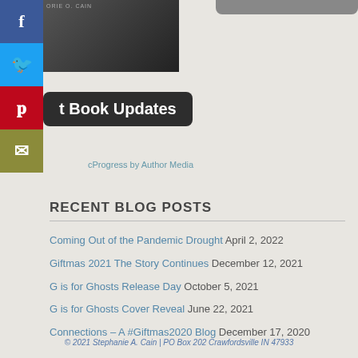[Figure (screenshot): Dark book cover image partially visible in top-left area]
[Figure (screenshot): Dark rounded banner/button with text 't Book Updates']
cProgress by Author Media
RECENT BLOG POSTS
Coming Out of the Pandemic Drought April 2, 2022
Giftmas 2021 The Story Continues December 12, 2021
G is for Ghosts Release Day October 5, 2021
G is for Ghosts Cover Reveal June 22, 2021
Connections – A #Giftmas2020 Blog December 17, 2020
© 2021 Stephanie A. Cain | PO Box 202 Crawfordsville IN 47933